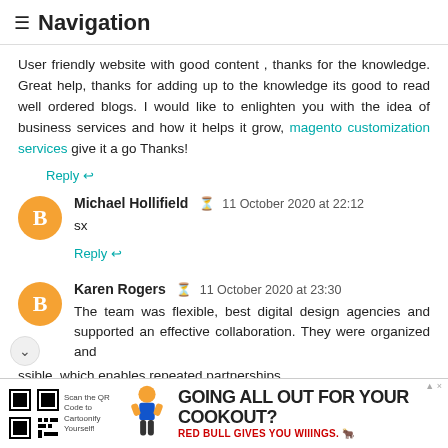≡ Navigation
User friendly website with good content , thanks for the knowledge. Great help, thanks for adding up to the knowledge its good to read well ordered blogs. I would like to enlighten you with the idea of business services and how it helps it grow, magento customization services give it a go Thanks!
Reply ↩
Michael Hollifield  11 October 2020 at 22:12
sx
Reply ↩
Karen Rogers  11 October 2020 at 23:30
The team was flexible, best digital design agencies and supported an effective collaboration. They were organized and ssible, which enables repeated partnerships.
[Figure (infographic): Red Bull advertisement banner: QR code on left, cartoon figure in middle, text 'GOING ALL OUT FOR YOUR COOKOUT?' with Red Bull logo and tagline 'RED BULL GIVES YOU WIIINGS.']